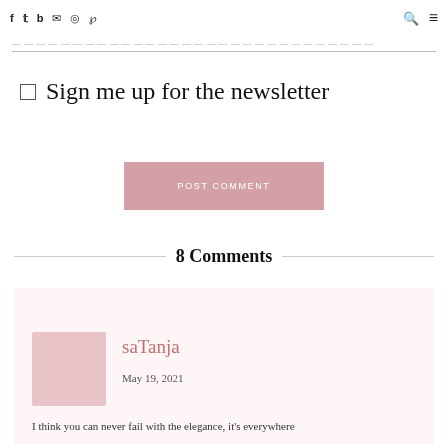f  t  b  ✉  ☉  ℗  🔍  ≡
— — — — — — — — — — — — — — — — — —
☐ Sign me up for the newsletter
POST COMMENT
8 Comments
saTanja
May 19, 2021
I think you can never fail with the elegance, it's everywhere